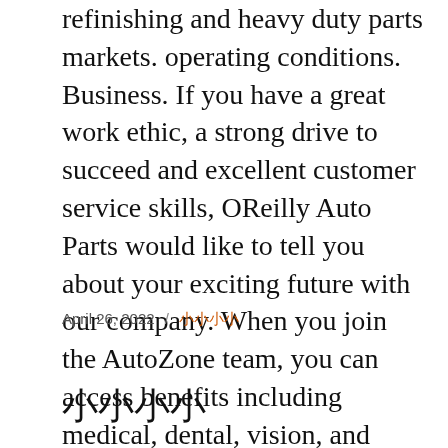refinishing and heavy duty parts markets. operating conditions. Business. If you have a great work ethic, a strong drive to succeed and excellent customer service skills, OReilly Auto Parts would like to tell you about your exciting future with our company. When you join the AutoZone team, you can access benefits including medical, dental, vision, and prescription drugs, life, disability, 401(k) plans, and discounts at AutoZone stores.
April 26, 2022 / 小小小小
小小小小